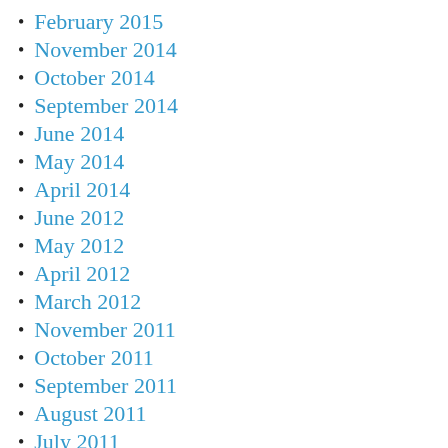February 2015
November 2014
October 2014
September 2014
June 2014
May 2014
April 2014
June 2012
May 2012
April 2012
March 2012
November 2011
October 2011
September 2011
August 2011
July 2011